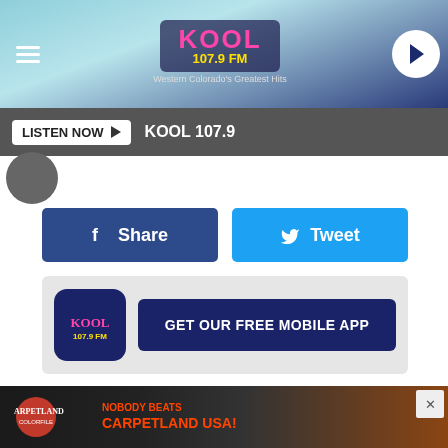[Figure (screenshot): KOOL 107.9 FM radio station website header with logo, hamburger menu, and play button on gradient teal/navy background]
LISTEN NOW ▶  KOOL 107.9
[Figure (screenshot): Facebook Share button (dark blue) and Twitter Tweet button (light blue) side by side]
[Figure (screenshot): GET OUR FREE MOBILE APP banner with KOOL FM app icon on grey background]
The crew at Board Fox Games in downtown Grand Junction wanted to 'brighten one server's day this Holiday Season' and they did that and more. They collected tips and matched them at their store, and wound up with over $2,200 in tip money.
[Figure (screenshot): Carpetland USA advertisement banner at bottom: NOBODY BEATS CARPETLAND USA!]